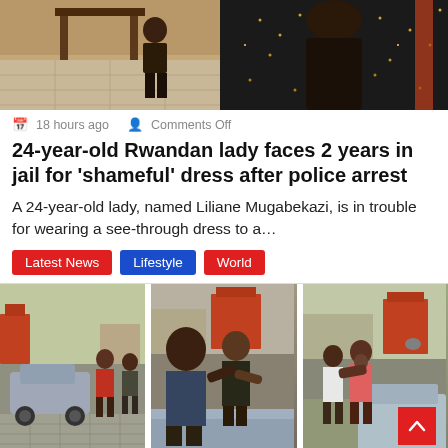[Figure (photo): Top split image: left side shows a person near a table on a tiled floor, right side shows a dark background with a person wearing a glittery outfit]
18 hours ago   Comments Off
24-year-old Rwandan lady faces 2 years in jail for 'shameful' dress after police arrest
A 24-year-old lady, named Liliane Mugabekazi, is in trouble for wearing a see-through dress to a…
Latest News
Lifestyle
World
[Figure (photo): Three side-by-side video stills showing people on a street near cars, appearing to show an altercation or police arrest scene]